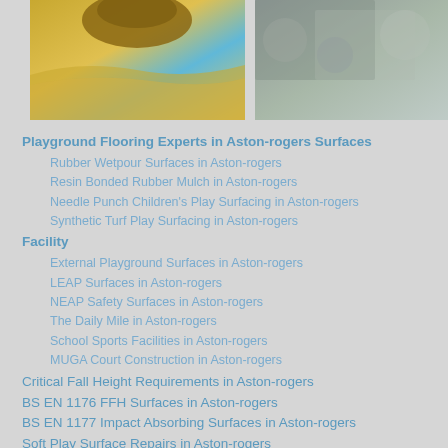[Figure (photo): Two playground surface photos side by side: left shows colorful rubber wetpour surface in blue and yellow/orange, right shows rubber mulch or granule surface in grey/green tones.]
Playground Flooring Experts in Aston-rogers Surfaces
Rubber Wetpour Surfaces in Aston-rogers
Resin Bonded Rubber Mulch in Aston-rogers
Needle Punch Children's Play Surfacing in Aston-rogers
Synthetic Turf Play Surfacing in Aston-rogers
Facility
External Playground Surfaces in Aston-rogers
LEAP Surfaces in Aston-rogers
NEAP Safety Surfaces in Aston-rogers
The Daily Mile in Aston-rogers
School Sports Facilities in Aston-rogers
MUGA Court Construction in Aston-rogers
Critical Fall Height Requirements in Aston-rogers
BS EN 1176 FFH Surfaces in Aston-rogers
BS EN 1177 Impact Absorbing Surfaces in Aston-rogers
Soft Play Surface Repairs in Aston-rogers